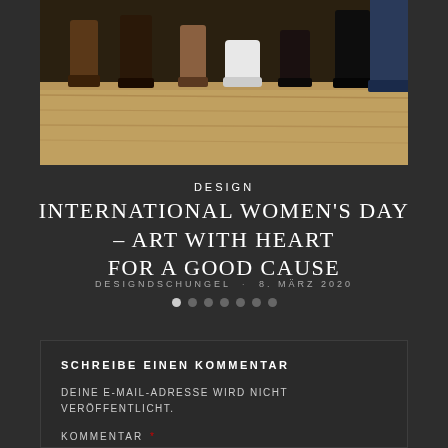[Figure (photo): Photo showing lower legs and shoes of multiple people standing on a wooden floor]
DESIGN
INTERNATIONAL WOMEN'S DAY – ART WITH HEART FOR A GOOD CAUSE
DESIGNDSCHUNGEL · 8. MÄRZ 2020
SCHREIBE EINEN KOMMENTAR
DEINE E-MAIL-ADRESSE WIRD NICHT VERÖFFENTLICHT.
KOMMENTAR *